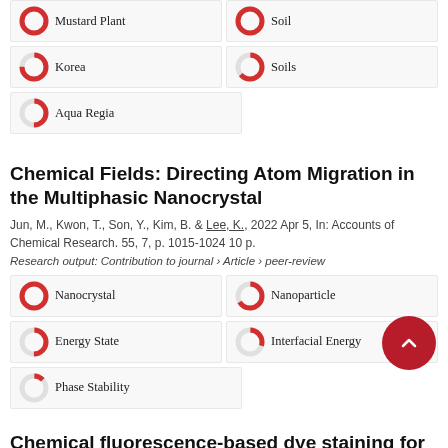Mustard Plant
Soil
Korea
Soils
Aqua Regia
Chemical Fields: Directing Atom Migration in the Multiphasic Nanocrystal
Jun, M., Kwon, T., Son, Y., Kim, B. & Lee, K., 2022 Apr 5, In: Accounts of Chemical Research. 55, 7, p. 1015-1024 10 p.
Research output: Contribution to journal › Article › peer-review
Nanocrystal
Nanoparticle
Energy State
Interfacial Energy
Phase Stability
Chemical fluorescence-based dye staining for dimensional histopathology analysis
Kim, H. J., Kim, J., Choi, J. & Sun, W., 2022, In: Animal Cells and